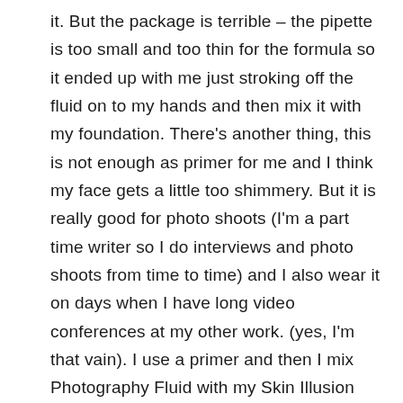it. But the package is terrible – the pipette is too small and too thin for the formula so it ended up with me just stroking off the fluid on to my hands and then mix it with my foundation. There's another thing, this is not enough as primer for me and I think my face gets a little too shimmery. But it is really good for photo shoots (I'm a part time writer so I do interviews and photo shoots from time to time) and I also wear it on days when I have long video conferences at my other work. (yes, I'm that vain). I use a primer and then I mix Photography Fluid with my Skin Illusion foundation (Clarins) and that is a good mix.